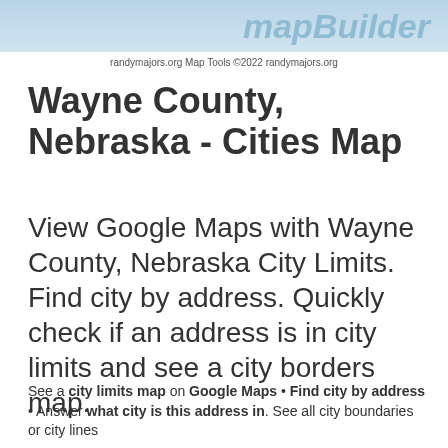[Figure (other): MapBuilder banner header with light blue gradient background and italic bold text 'mapBuilder']
randymajors.org Map Tools ©2022 randymajors.org
Wayne County, Nebraska - Cities Map
View Google Maps with Wayne County, Nebraska City Limits. Find city by address. Quickly check if an address is in city limits and see a city borders map.
See a city limits map on Google Maps • Find city by address • Answer what city is this address in. See all city boundaries or city lines